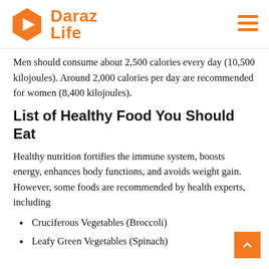Daraz Life
Men should consume about 2,500 calories every day (10,500 kilojoules). Around 2,000 calories per day are recommended for women (8,400 kilojoules).
List of Healthy Food You Should Eat
Healthy nutrition fortifies the immune system, boosts energy, enhances body functions, and avoids weight gain. However, some foods are recommended by health experts, including
Cruciferous Vegetables (Broccoli)
Leafy Green Vegetables (Spinach)